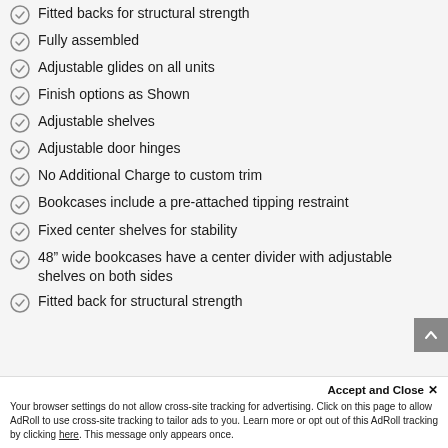Fitted backs for structural strength
Fully assembled
Adjustable glides on all units
Finish options as Shown
Adjustable shelves
Adjustable door hinges
No Additional Charge to custom trim
Bookcases include a pre-attached tipping restraint
Fixed center shelves for stability
48” wide bookcases have a center divider with adjustable shelves on both sides
Fitted back for structural strength
Accept and Close ×
Your browser settings do not allow cross-site tracking for advertising. Click on this page to allow AdRoll to use cross-site tracking to tailor ads to you. Learn more or opt out of this AdRoll tracking by clicking here. This message only appears once.